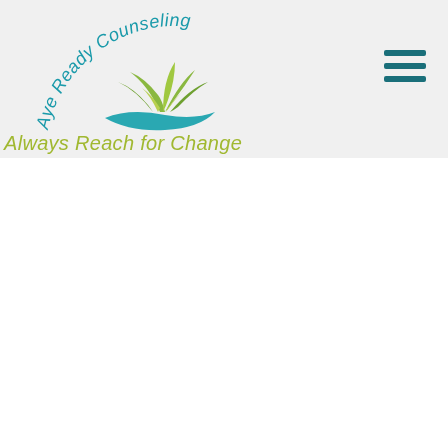[Figure (logo): Aye Ready Counseling logo with arched teal text reading 'Aye Ready Counseling' above a stylized green and teal leaf/plant graphic, with tagline 'Always Reach for Change' in olive/yellow-green italic text below]